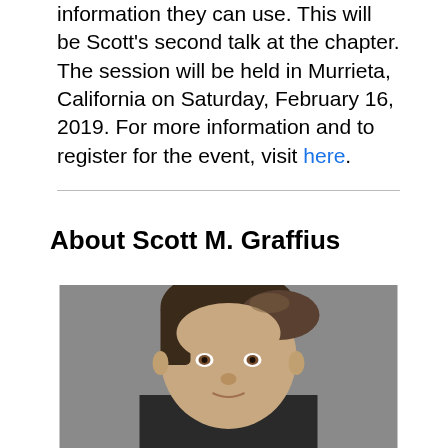information they can use. This will be Scott's second talk at the chapter. The session will be held in Murrieta, California on Saturday, February 16, 2019. For more information and to register for the event, visit here.
About Scott M. Graffius
[Figure (photo): Professional headshot photo of Scott M. Graffius, a man with dark brown hair, wearing a suit, against a gray background.]